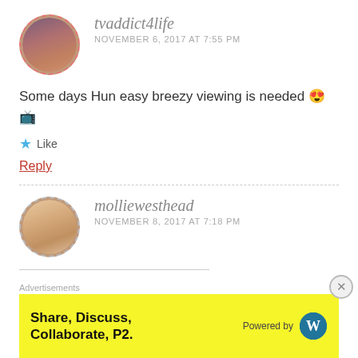[Figure (photo): Circular avatar photo of tvaddict4life user with dashed red border]
tvaddict4life
NOVEMBER 6, 2017 AT 7:55 PM
Some days Hun easy breezy viewing is needed 😍📺
Like
Reply
[Figure (photo): Circular avatar photo of molliewesthead user with dashed border]
molliewesthead
NOVEMBER 8, 2017 AT 7:18 PM
Advertisements
Share, Discuss, Collaborate, P2.
Powered by